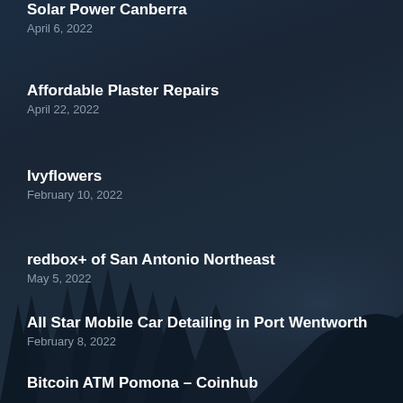Solar Power Canberra
April 6, 2022
Affordable Plaster Repairs
April 22, 2022
Ivyflowers
February 10, 2022
redbox+ of San Antonio Northeast
May 5, 2022
All Star Mobile Car Detailing in Port Wentworth
February 8, 2022
Bitcoin ATM Pomona – Coinhub